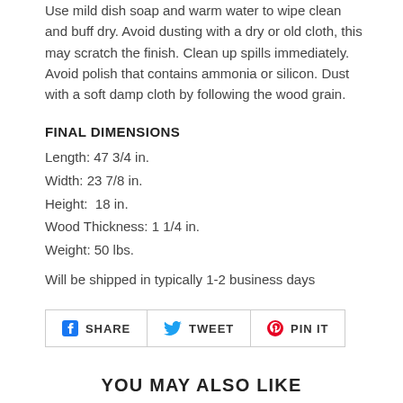Use mild dish soap and warm water to wipe clean and buff dry. Avoid dusting with a dry or old cloth, this may scratch the finish. Clean up spills immediately. Avoid polish that contains ammonia or silicon. Dust with a soft damp cloth by following the wood grain.
FINAL DIMENSIONS
Length: 47 3/4 in.
Width: 23 7/8 in.
Height:  18 in.
Wood Thickness: 1 1/4 in.
Weight: 50 lbs.
Will be shipped in typically 1-2 business days
[Figure (other): Social sharing buttons: SHARE (Facebook), TWEET (Twitter), PIN IT (Pinterest)]
YOU MAY ALSO LIKE